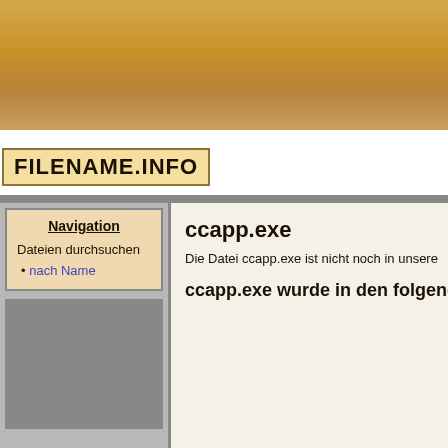[Figure (other): Golden/brown gradient header background]
FILENAME.INFO
Navigation
Dateien durchsuchen
nach Name
[Figure (other): Advertisement placeholder box (grey rectangle)]
ccapp.exe
Die Datei ccapp.exe ist nicht noch in unsere
ccapp.exe wurde in den folgenden